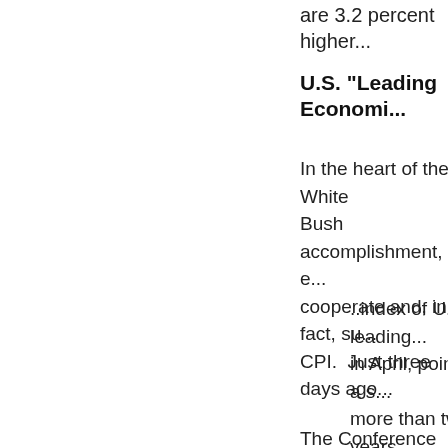are 3.2 percent higher...
U.S. "Leading Economi...
In the heart of the White... Bush accomplishment, e... cooperate and, in fact, su... CPI.  Just three days ago...
..index of U.S. leading... in April, pointing to a s... more than two years.
The Conference Board... the next three to six m... percent in March, the... report showed manufa... slower growth in order...
"There's softening in t... Anthony Chan, chief e...